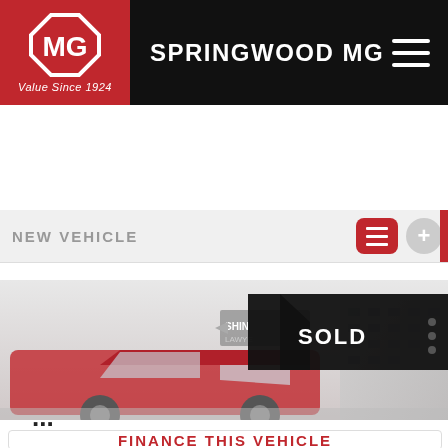[Figure (logo): MG logo with red background and tagline 'Value Since 1924']
SPRINGWOOD MG
NEW VEHICLE
2021 MG HS SAS23 MY21 VIBE DCT FWD RED 7 SPEED ...
[Figure (photo): Red MG HS SUV parked near a building with a SOLD banner overlay]
CONTACT US
FINANCE THIS VEHICLE